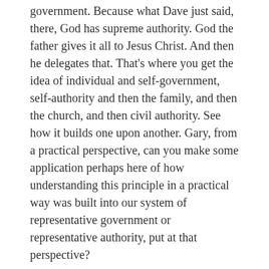government. Because what Dave just said, there, God has supreme authority. God the father gives it all to Jesus Christ. And then he delegates that. That's where you get the idea of individual and self-government, self-authority and then the family, and then the church, and then civil authority. See how it builds one upon another. Gary, from a practical perspective, can you make some application perhaps here of how understanding this principle in a practical way was built into our system of representative government or representative authority, put at that perspective?
Gary Dull:
Sam and I want to say this that we're just talking here. My heart is yearning. I wish to God that those of us who were alive today and particularly